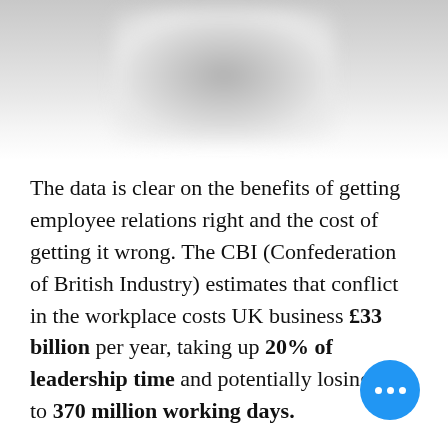[Figure (photo): Blurred/defocused photograph at the top of the page, showing indistinct shapes in grey and white tones.]
The data is clear on the benefits of getting employee relations right and the cost of getting it wrong. The CBI (Confederation of British Industry) estimates that conflict in the workplace costs UK business £33 billion per year, taking up 20% of leadership time and potentially losing up to 370 million working days.